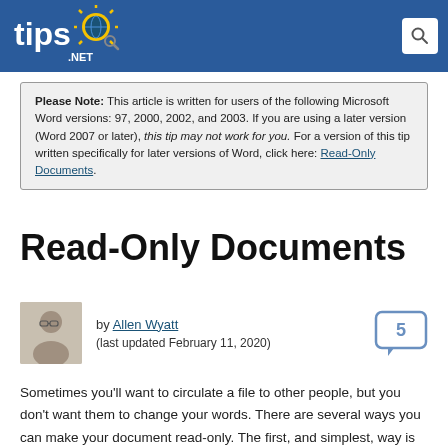tips.NET
Please Note: This article is written for users of the following Microsoft Word versions: 97, 2000, 2002, and 2003. If you are using a later version (Word 2007 or later), this tip may not work for you. For a version of this tip written specifically for later versions of Word, click here: Read-Only Documents.
Read-Only Documents
by Allen Wyatt (last updated February 11, 2020)
Sometimes you'll want to circulate a file to other people, but you don't want them to change your words. There are several ways you can make your document read-only. The first, and simplest, way is to use the capabilities of